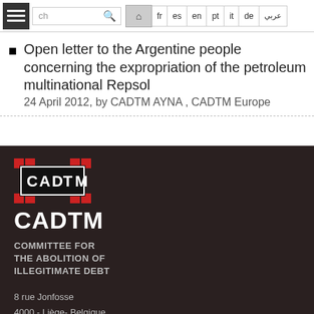Navigation bar with hamburger menu, search, home button, and language options: fr, es, en, pt, it, de, عربي
Open letter to the Argentine people concerning the expropriation of the petroleum multinational Repsol
24 April 2012, by CADTM AYNA , CADTM Europe
[Figure (logo): CADTM logo: stylized letters C A D T M in bold black with red square accents at corners]
CADTM
COMMITTEE FOR THE ABOLITION OF ILLEGITIMATE DEBT
8 rue Jonfosse
4000 - Liège- Belgique